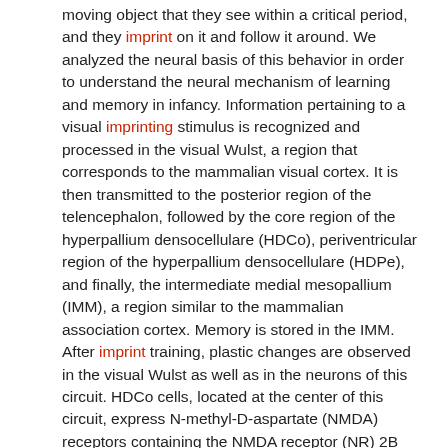moving object that they see within a critical period, and they imprint on it and follow it around. We analyzed the neural basis of this behavior in order to understand the neural mechanism of learning and memory in infancy. Information pertaining to a visual imprinting stimulus is recognized and processed in the visual Wulst, a region that corresponds to the mammalian visual cortex. It is then transmitted to the posterior region of the telencephalon, followed by the core region of the hyperpallium densocellulare (HDCo), periventricular region of the hyperpallium densocellulare (HDPe), and finally, the intermediate medial mesopallium (IMM), a region similar to the mammalian association cortex. Memory is stored in the IMM. After imprint training, plastic changes are observed in the visual Wulst as well as in the neurons of this circuit. HDCo cells, located at the center of this circuit, express N-methyl-D-aspartate (NMDA) receptors containing the NMDA receptor (NR) 2B subunit; the expression of this receptor increased after the imprint training. Inhibition of this receptor in the cells of the HDCo region leads to failure of imprinting and inactivation of this circuit. Thus, NMDA receptors bearing the NR2B subunit play a critical role in plastic changes in this circuit and in induction of imprinting.